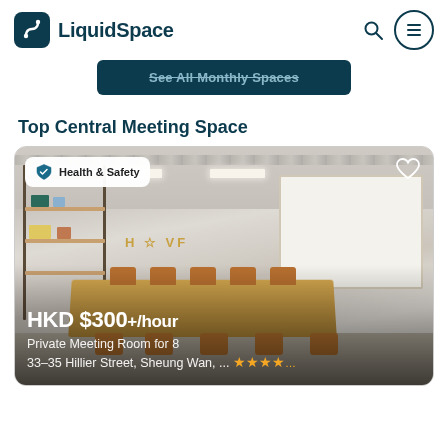LiquidSpace
See All Monthly Spaces
Top Central Meeting Space
[Figure (photo): Interior photo of a modern meeting room with wooden table, chairs, shelving unit, and whiteboard. Shows 'Health & Safety' badge overlay, heart/favorite button, price 'HKD $300+/hour', venue name 'Private Meeting Room for 8, 33-35 Hillier Street, Sheung Wan, ...' with star rating.]